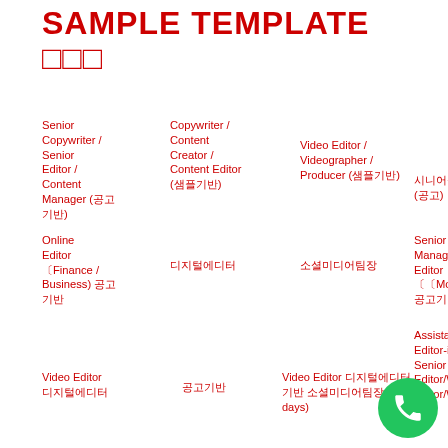SAMPLE TEMPLATE 샘플
Senior Copywriter / Senior Editor / Content Manager (공고 기반)
Copywriter / Content Creator / Content Editor (샘플기반)
Video Editor / Videographer / Producer (샘플기반)
시니어급영입(공고)
Online Editor 〔Finance / Business) 공고 기반
Senior Editor/ Managing Editor〔〔Monday 공고기반/공고)
디지털에디터
소셜미디어팀장
Assistant Editor-in-Chief Senior Editor/Writer Editor/Writer 공고
Video Editor 디지털에디터
공고기반
Video Editor 디지털에디터 기반 소셜미디어팀장(5 days)